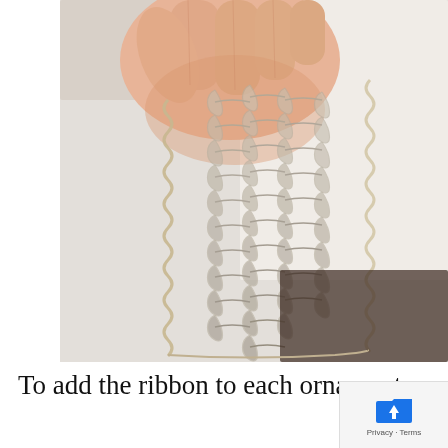[Figure (photo): A hand holding a triangular piece of silver wire mesh/knitted wire ornament material with spiral coiled edges, against a white textured background. The mesh forms an elongated diamond or tree shape hanging from the fingers.]
To add the ribbon to each ornament: